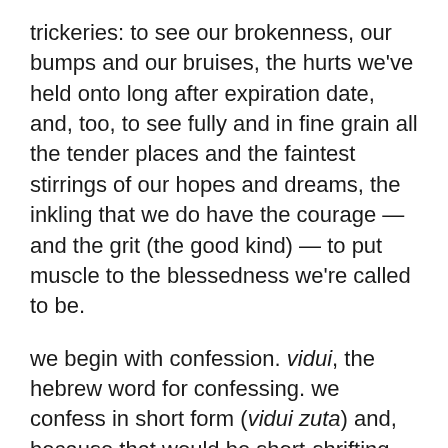trickeries: to see our brokenness, our bumps and our bruises, the hurts we've held onto long after expiration date, and, too, to see fully and in fine grain all the tender places and the faintest stirrings of our hopes and dreams, the inkling that we do have the courage — and the grit (the good kind) — to put muscle to the blessedness we're called to be.
we begin with confession. vidui, the hebrew word for confessing. we confess in short form (vidui zuta) and, because that would be short-shrifting our fumblings and failings and only half doing the job, we do it again in longform (vidui rabbah), poking around in all the places where we pretend we've hidden what hurts, scrubbing out each and every crevice, spilling all our secrets and the moments when we know we've stumbled and precisely